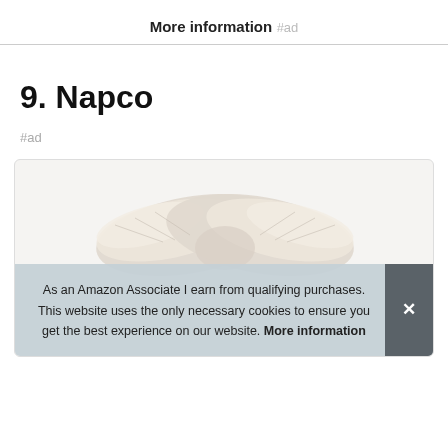More information #ad
9. Napco
#ad
[Figure (photo): Product image showing a white/cream ceramic angel wings figurine. A cookie consent banner overlays the bottom portion of the image reading: 'As an Amazon Associate I earn from qualifying purchases. This website uses the only necessary cookies to ensure you get the best experience on our website. More information' with an X close button.]
As an Amazon Associate I earn from qualifying purchases. This website uses the only necessary cookies to ensure you get the best experience on our website. More information